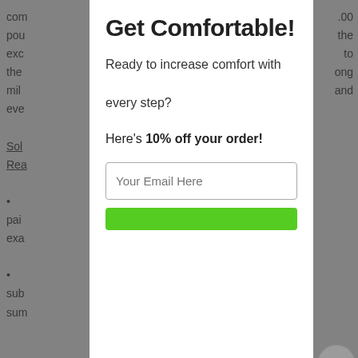com
pou
exc
the
mil
eve

Sol
Rea

•
pai
exa

•
sub
sum
.00
the
to
ong
and
Get Comfortable!
Ready to increase comfort with every step?
Here's 10% off your order!
Your Email Here